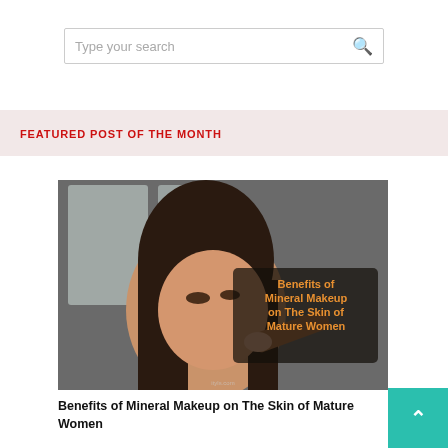Type your search
FEATURED POST OF THE MONTH
[Figure (photo): Woman having makeup applied with a brush, with text overlay reading 'Benefits of Mineral Makeup on The Skin of Mature Women' in orange on a dark semi-transparent background]
Benefits of Mineral Makeup on The Skin of Mature Women